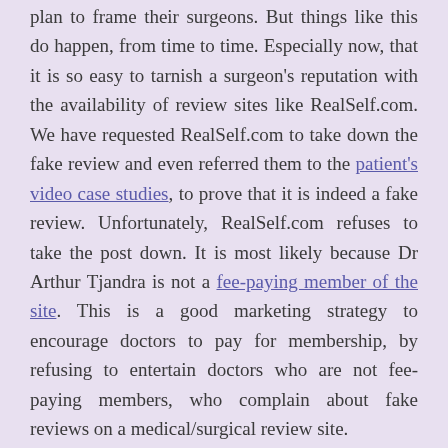plan to frame their surgeons. But things like this do happen, from time to time. Especially now, that it is so easy to tarnish a surgeon's reputation with the availability of review sites like RealSelf.com. We have requested RealSelf.com to take down the fake review and even referred them to the patient's video case studies, to prove that it is indeed a fake review. Unfortunately, RealSelf.com refuses to take the post down. It is most likely because Dr Arthur Tjandra is not a fee-paying member of the site. This is a good marketing strategy to encourage doctors to pay for membership, by refusing to entertain doctors who are not fee-paying members, who complain about fake reviews on a medical/surgical review site.
This fake review serves as a reminder for everyone that there are indeed such patients in the world. They are everywhere! But luckily, due to our